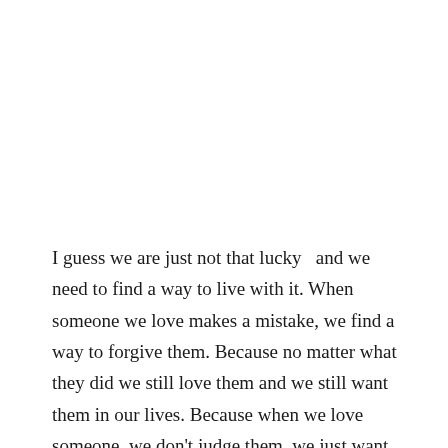I guess we are just not that lucky  and we need to find a way to live with it. When someone we love makes a mistake, we find a way to forgive them. Because no matter what they did we still love them and we still want them in our lives. Because when we love someone, we don't judge them, we just want them to be happy. But its so weird that if someone we hate makes the same